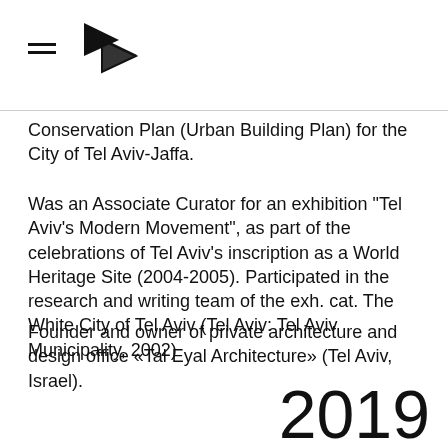[Figure (logo): Hamburger menu icon and arrow/play button logo mark in black]
Conservation Plan (Urban Building Plan) for the City of Tel Aviv-Jaffa.
Was an Associate Curator for an exhibition "Tel Aviv's Modern Movement", as part of the celebrations of Tel Aviv's inscription as a World Heritage Site (2004-2005). Participated in the research and writing team of the exh. cat. The White City of Tel Aviv (Tel Aviv: Tel Aviv Municipality, 2002)
Founder and owner of private architecture and design office «Tal Eyal Architecture» (Tel Aviv, Israel).
2019